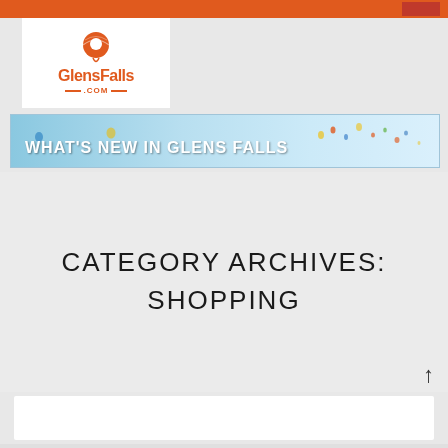[Figure (logo): GlensFalls.com logo with orange hot air balloon location pin icon, orange text reading GlensFalls with .COM below flanked by dashes]
[Figure (photo): Banner image showing hot air balloons in a light blue sky with text WHAT'S NEW IN GLENS FALLS in bold white capital letters]
CATEGORY ARCHIVES: SHOPPING